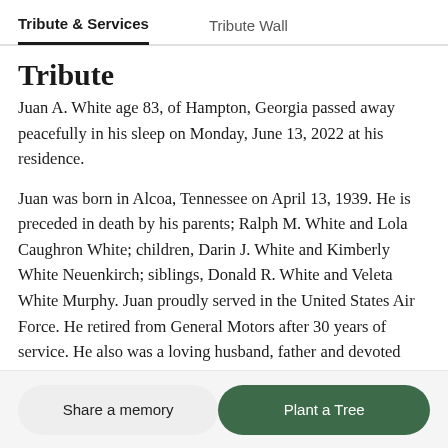Tribute & Services | Tribute Wall
Tribute
Juan A. White age 83, of Hampton, Georgia passed away peacefully in his sleep on Monday, June 13, 2022 at his residence.
Juan was born in Alcoa, Tennessee on April 13, 1939. He is preceded in death by his parents; Ralph M. White and Lola Caughron White; children, Darin J. White and Kimberly White Neuenkirch; siblings, Donald R. White and Veleta White Murphy. Juan proudly served in the United States Air Force. He retired from General Motors after 30 years of service. He also was a loving husband, father and devoted grandfather. His hobbies were fishing, speed boat racing, rooting for the Tennessee Volunteers football team and